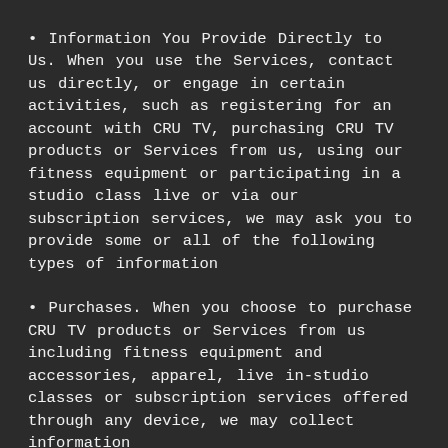• Information You Provide Directly to Us. When you use the Services, contact us directly, or engage in certain activities, such as registering for an account with CRU TV, purchasing CRU TV products or Services from us, using our fitness equipment or participating in a studio class live or via our subscription services, we may ask you to provide some or all of the following types of information
• Purchases. When you choose to purchase CRU TV products or Services from us including fitness equipment and accessories, apparel, live in-studio classes or subscription services offered through any device, we may collect information from you including Personal Information